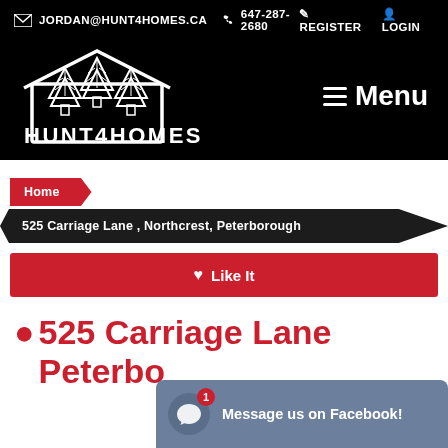JORDAN@HUNT4HOMES.CA  647-287-2680  REGISTER  LOGIN
[Figure (logo): HUNT4HOMES logo with house and trees icon on black background, with Menu button]
Home
525 Carriage Lane , Northcrest, Peterborough
♥ Like It
525 Carriage Lane Peterborough
Message us on Facebook!